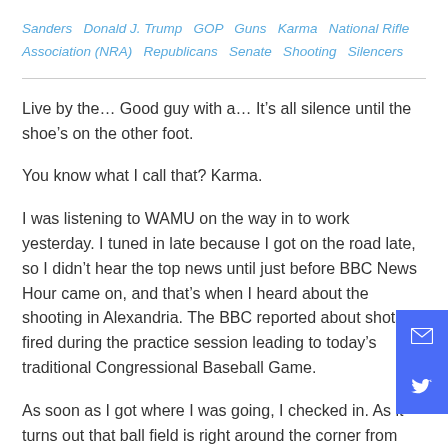Sanders  Donald J. Trump  GOP  Guns  Karma  National Rifle Association (NRA)  Republicans  Senate  Shooting  Silencers
Live by the… Good guy with a… It's all silence until the shoe's on the other foot.
You know what I call that? Karma.
I was listening to WAMU on the way in to work yesterday. I tuned in late because I got on the road late, so I didn't hear the top news until just before BBC News Hour came on, and that's when I heard about the shooting in Alexandria. The BBC reported about shots fired during the practice session leading to today's traditional Congressional Baseball Game.
As soon as I got where I was going, I checked in. As it turns out that ball field is right around the corner from